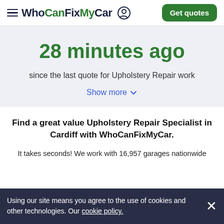WhoCanFixMyCar — Get quotes
28 minutes ago
since the last quote for Upholstery Repair work
Show more
Find a great value Upholstery Repair Specialist in Cardiff with WhoCanFixMyCar.
It takes seconds! We work with 16,957 garages nationwide
Using our site means you agree to the use of cookies and other technologies. Our cookie policy.